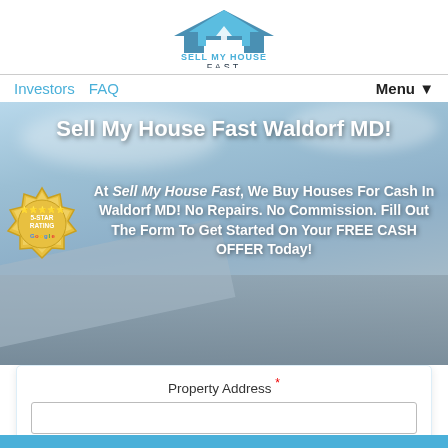[Figure (logo): Sell My House Fast logo with blue roof/arrow icon and text 'SELL MY HOUSE FAST']
Investors   FAQ   Menu ▼
Sell My House Fast Waldorf MD!
[Figure (illustration): Gold 5-star rating badge with Google branding]
At Sell My House Fast, We Buy Houses For Cash In Waldorf MD! No Repairs. No Commission. Fill Out The Form To Get Started On Your FREE CASH OFFER Today!
Property Address *